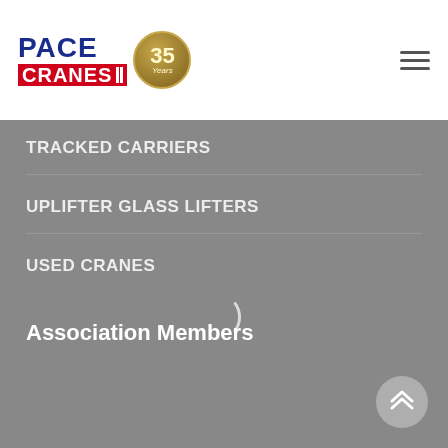[Figure (logo): Pace Cranes logo with 35 years anniversary badge]
TRACKED CARRIERS
UPLIFTER GLASS LIFTERS
USED CRANES
Association Members
[Figure (other): Loading spinner arc]
[Figure (other): Back to top button with double chevron arrows]